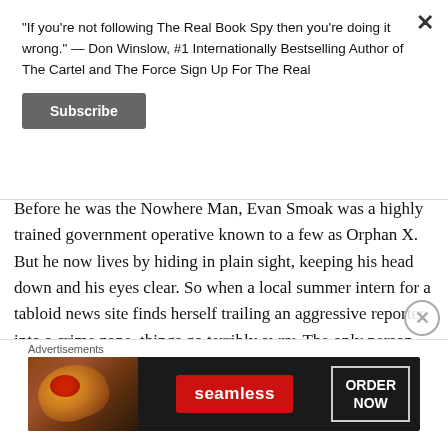“If you’re not following The Real Book Spy then you’re doing it wrong.” — Don Winslow, #1 Internationally Bestselling Author of The Cartel and The Force Sign Up For The Real
Subscribe
Before he was the Nowhere Man, Evan Smoak was a highly trained government operative known to a few as Orphan X. But he now lives by hiding in plain sight, keeping his head down and his eyes clear. So when a local summer intern for a tabloid news site finds herself trailing an aggressive reporter into a crime zone, things go terribly awry. The only person who can help her is a
Advertisements
[Figure (other): Seamless food delivery advertisement banner with pizza image on left, Seamless red logo in center, and ORDER NOW button on right, on dark background]